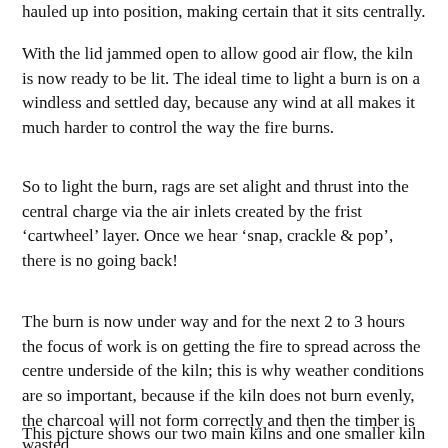hauled up into position, making certain that it sits centrally.
With the lid jammed open to allow good air flow, the kiln is now ready to be lit. The ideal time to light a burn is on a windless and settled day, because any wind at all makes it much harder to control the way the fire burns.
So to light the burn, rags are set alight and thrust into the central charge via the air inlets created by the frist ‘cartwheel’ layer. Once we hear ‘snap, crackle & pop’, there is no going back!
The burn is now under way and for the next 2 to 3 hours the focus of work is on getting the fire to spread across the centre underside of the kiln; this is why weather conditions are so important, because if the kiln does not burn evenly, the charcoal will not form correctly and then the timber is wasted.
This picture shows our two main kilns and one smaller kiln